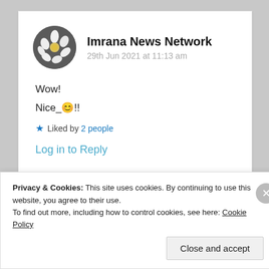Imrana News Network
29th Jun 2021 at 11:13 am
Wow!
Nice_😊!!
★ Liked by 2 people
Log in to Reply
Privacy & Cookies: This site uses cookies. By continuing to use this website, you agree to their use.
To find out more, including how to control cookies, see here: Cookie Policy
Close and accept